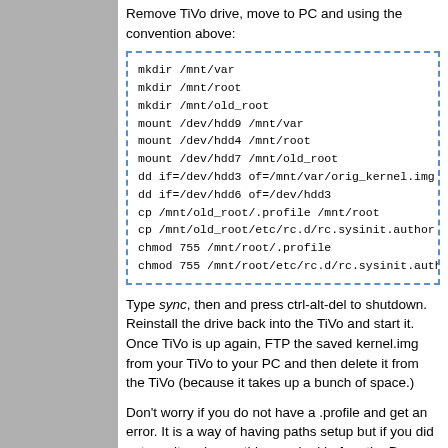Remove TiVo drive, move to PC and using the convention above:
[Figure (screenshot): Code block with dashed blue border containing shell commands: mkdir /mnt/var, mkdir /mnt/root, mkdir /mnt/old_root, mount /dev/hdd9 /mnt/var, mount /dev/hdd4 /mnt/root, mount /dev/hdd7 /mnt/old_root, dd if=/dev/hdd3 of=/mnt/var/orig_kernel.img, dd if=/dev/hdd6 of=/dev/hdd3, cp /mnt/old_root/.profile /mnt/root, cp /mnt/old_root/etc/rc.d/rc.sysinit.author, chmod 755 /mnt/root/.profile, chmod 755 /mnt/root/etc/rc.d/rc.sysinit.auth]
Type sync, then and press ctrl-alt-del to shutdown. Reinstall the drive back into the TiVo and start it. Once TiVo is up again, FTP the saved kernel.img from your TiVo to your PC and then delete it from the TiVo (because it takes up a bunch of space.)
Don't worry if you do not have a .profile and get an error. It is a way of having paths setup but if you did not use it and everything worked before the D update then it does not matter. This author did not have a .profile.